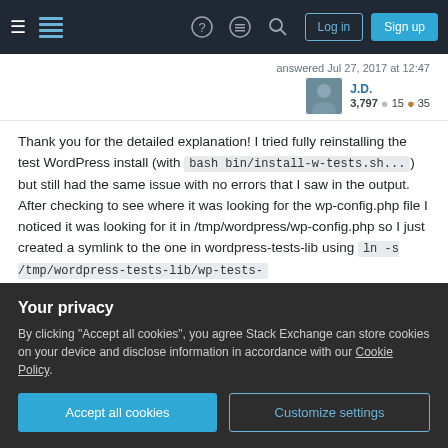Stack Exchange navigation bar with Log in and Sign up buttons
answered Jul 27, 2017 at 12:47
J.D. 3,797 ● 15 ● 35
Thank you for the detailed explanation! I tried fully reinstalling the test WordPress install (with bash bin/install-w-tests.sh...) but still had the same issue with no errors that I saw in the output. After checking to see where it was looking for the wp-config.php file I noticed it was looking for it in /tmp/wordpress/wp-config.php so I just created a symlink to the one in wordpress-tests-lib using ln -s /tmp/wordpress-tests-lib/wp-tests-
Your privacy
By clicking "Accept all cookies", you agree Stack Exchange can store cookies on your device and disclose information in accordance with our Cookie Policy.
Accept all cookies
Customize settings